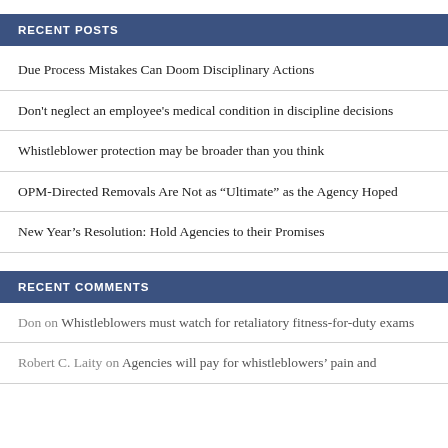RECENT POSTS
Due Process Mistakes Can Doom Disciplinary Actions
Don't neglect an employee's medical condition in discipline decisions
Whistleblower protection may be broader than you think
OPM-Directed Removals Are Not as “Ultimate” as the Agency Hoped
New Year’s Resolution: Hold Agencies to their Promises
RECENT COMMENTS
Don on Whistleblowers must watch for retaliatory fitness-for-duty exams
Robert C. Laity on Agencies will pay for whistleblowers’ pain and